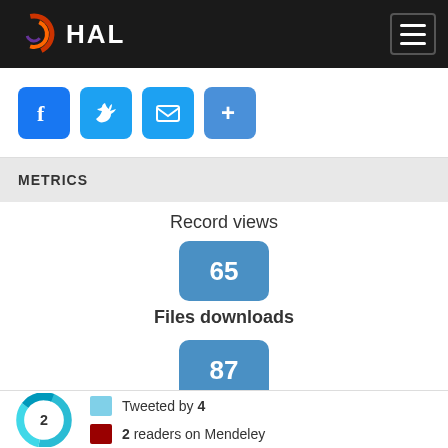HAL
[Figure (infographic): Social share buttons: Facebook, Twitter, Email, More (+)]
METRICS
Record views
[Figure (infographic): Metric box showing 65 record views]
Files downloads
[Figure (infographic): Metric box showing 87 files downloads]
[Figure (infographic): Altmetric donut chart showing score 2, Tweeted by 4, 2 readers on Mendeley]